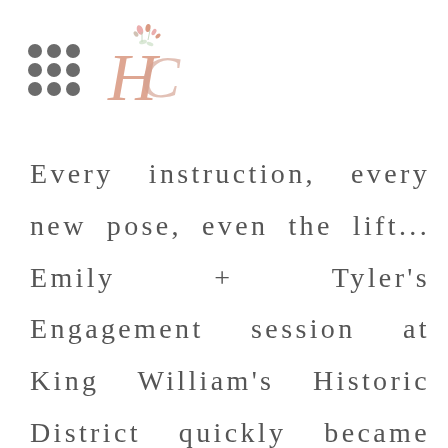[Figure (logo): A 3x3 grid of dark gray dots on the left, and a decorative floral script monogram logo (HC) in pink/rose color on the right]
Every instruction, every new pose, even the lift... Emily + Tyler's Engagement session at King William's Historic District quickly became the modeling session that took over this beautiful area of town!! It's like the nerves melted